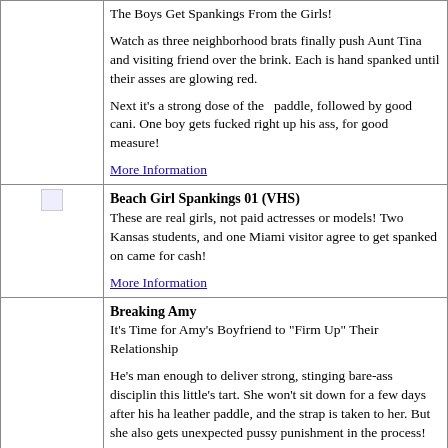| [image] | The Boys Get Spankings From the Girls!

Watch as three neighborhood brats finally push Aunt Tina and visiting friend over the brink. Each is hand spanked until their asses are glowing red.

Next it's a strong dose of the paddle, followed by good cani. One boy gets fucked right up his ass, for good measure!

More Information |
| [broken image] | Beach Girl Spankings 01 (VHS)
These are real girls, not paid actresses or models! Two Kansas students, and one Miami visitor agree to get spanked on came for cash!

More Information |
| [image] | Breaking Amy
It's Time for Amy's Boyfriend to "Firm Up" Their Relationship

He's man enough to deliver strong, stinging bare-ass disciplin this little's tart. She won't sit down for a few days after his ha leather paddle, and the strap is taken to her. But she also gets unexpected pussy punishment in the process!

More Information |
| [image] | Beach Girl Spankings 05 (DVD) |